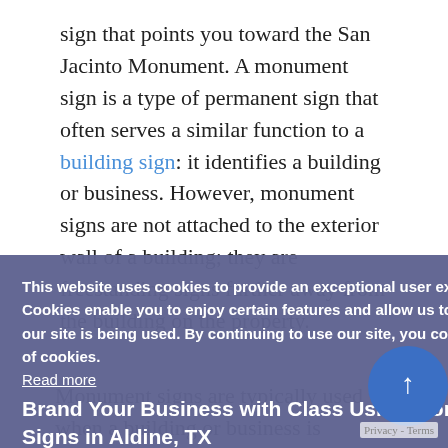sign that points you toward the San Jacinto Monument. A monument sign is a type of permanent sign that often serves a similar function to a building sign: it identifies a building or business. However, monument signs are not attached to the exterior wall of a building; they are freestanding signs further away from the building on the property.
This website uses cookies to provide an exceptional user experience. Cookies enable you to enjoy certain features and allow us to understand how our site is being used. By continuing to use our site, you consent to our use of cookies.
Read more
DECLINE
ACCEPT COOKIES
Brand Your Business with Class Using Monument Signs in Aldine, TX
Monument signs are typically used when a building or business is